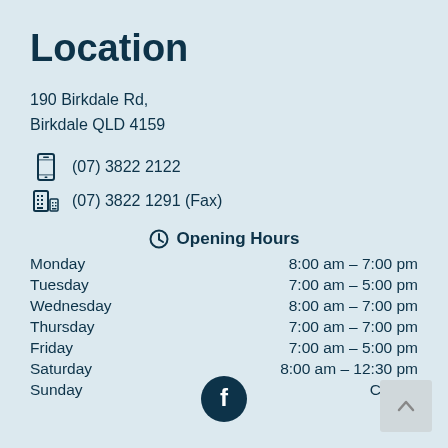Location
190 Birkdale Rd,
Birkdale QLD 4159
(07) 3822 2122
(07) 3822 1291 (Fax)
Opening Hours
| Day | Hours |
| --- | --- |
| Monday | 8:00 am – 7:00 pm |
| Tuesday | 7:00 am – 5:00 pm |
| Wednesday | 8:00 am – 7:00 pm |
| Thursday | 7:00 am – 7:00 pm |
| Friday | 7:00 am – 5:00 pm |
| Saturday | 8:00 am – 12:30 pm |
| Sunday | Closed |
[Figure (logo): Facebook icon button (circular dark teal with white f)]
[Figure (other): Back to top arrow button (grey square with upward chevron)]